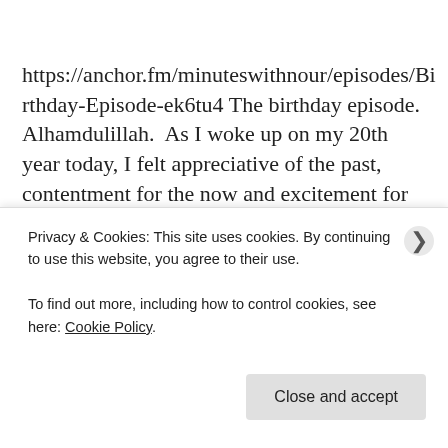https://anchor.fm/minuteswithnour/episodes/Birthday-Episode-ek6tu4 The birthday episode. Alhamdulillah.  As I woke up on my 20th year today, I felt appreciative of the past, contentment for the now and excitement for the future. With lot's of change on the horizon, I have a sense these chapters of my twenties will be the best yet... Can't believe i'm celebrating my… Continue reading
Privacy & Cookies: This site uses cookies. By continuing to use this website, you agree to their use.
To find out more, including how to control cookies, see here: Cookie Policy.